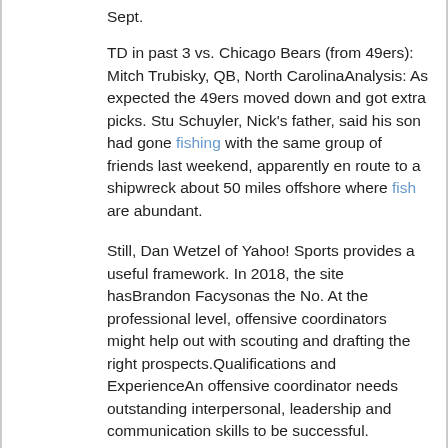Sept.
TD in past 3 vs. Chicago Bears (from 49ers): Mitch Trubisky, QB, North CarolinaAnalysis: As expected the 49ers moved down and got extra picks. Stu Schuyler, Nick's father, said his son had gone fishing with the same group of friends last weekend, apparently en route to a shipwreck about 50 miles offshore where fish are abundant.
Still, Dan Wetzel of Yahoo! Sports provides a useful framework. In 2018, the site hasBrandon Facysonas the No. At the professional level, offensive coordinators might help out with scouting and drafting the right prospects.Qualifications and ExperienceAn offensive coordinator needs outstanding interpersonal, leadership and communication skills to be successful.
Some guy in a club says, I produce for Snoop; I make you a hit record for a hundred grand. Football was really a metaphor for our ideal world different backgrounds, talents, political beliefs and histories as one big team with one big goal to do well, to win, TOGETHER.